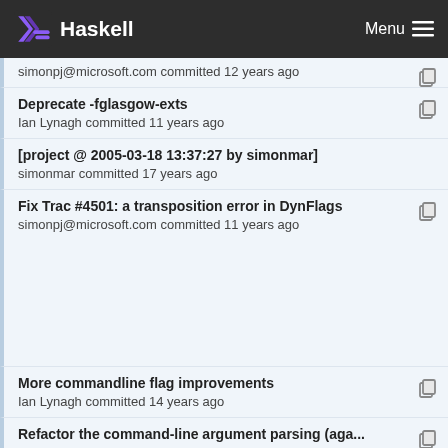Haskell | Menu
simonpj@microsoft.com committed 12 years ago
Deprecate -fglasgow-exts
Ian Lynagh committed 11 years ago
[project @ 2005-03-18 13:37:27 by simonmar]
simonmar committed 17 years ago
Fix Trac #4501: a transposition error in DynFlags
simonpj@microsoft.com committed 11 years ago
More commandline flag improvements
Ian Lynagh committed 14 years ago
Refactor the command-line argument parsing (aga...
simonpj@microsoft.com committed 12 years ago